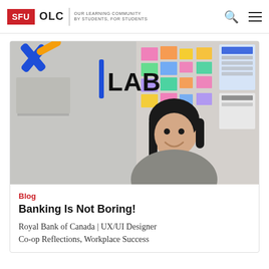SFU OLC | OUR LEARNING COMMUNITY BY STUDENTS, FOR STUDENTS
[Figure (photo): Young woman smiling in front of a glass wall with the X1 LAB logo (blue X, yellow diagonal bar, vertical bar, and 'LAB' text). The background shows colorful sticky notes and printed materials on a board.]
Blog
Banking Is Not Boring!
Royal Bank of Canada | UX/UI Designer
Co-op Reflections, Workplace Success